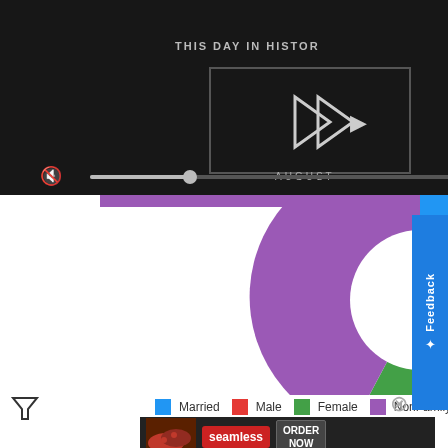[Figure (screenshot): Video player showing 'This Day in History' with play button, mute icon, progress bar, and fullscreen icon on dark background]
This Day in History
[Figure (donut-chart): Households by Type]
Married   Male   Female   NonFamily
[Figure (screenshot): Seamless food delivery advertisement banner with pizza image and ORDER NOW button]